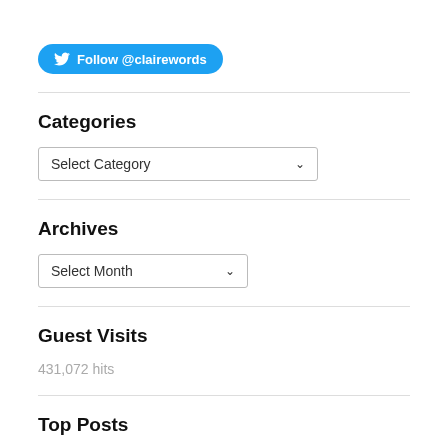[Figure (other): Twitter Follow button with @clairewords handle]
Categories
[Figure (other): Dropdown selector showing 'Select Category']
Archives
[Figure (other): Dropdown selector showing 'Select Month']
Guest Visits
431,072 hits
Top Posts